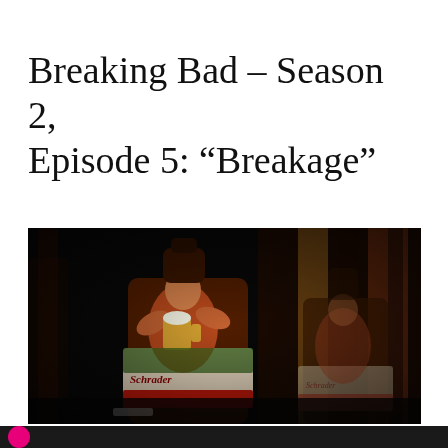Breaking Bad – Season 2, Episode 5: “Breakage”
[Figure (photo): A dark scene from the TV show Breaking Bad showing close-up of beer bottles with a label depicting a muscular man (Schrader brand), with a blurred figure in the background. The branding text 'Schrader' is visible on the bottle label.]